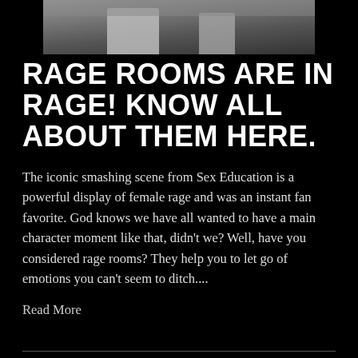[Figure (photo): Partial photo strip at top showing a person in a room, cropped, dark tones]
RAGE ROOMS ARE IN RAGE! KNOW ALL ABOUT THEM HERE.
The iconic smashing scene from Sex Education is a powerful display of female rage and was an instant fan favorite. God knows we have all wanted to have a main character moment like that, didn't we? Well, have you considered rage rooms? They help you to let go of emotions you can't seem to ditch....
Read More